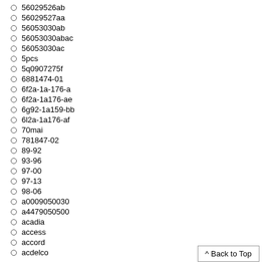56029526ab
56029527aa
56053030ab
56053030abac
56053030ac
5pcs
5q0907275f
6881474-01
6f2a-1a-176-a
6f2a-1a176-ae
6g92-1a159-bb
6l2a-1a176-af
70mai
781847-02
89-92
93-96
97-00
97-13
98-06
a0009050030
a4479050500
acadia
access
accord
acdelco
^ Back to Top